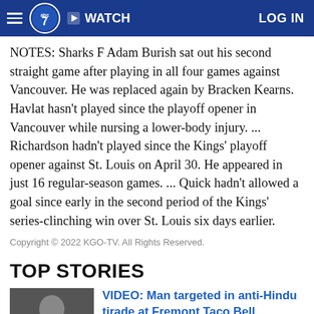abc7 WATCH LOG IN
NOTES: Sharks F Adam Burish sat out his second straight game after playing in all four games against Vancouver. He was replaced again by Bracken Kearns. Havlat hasn't played since the playoff opener in Vancouver while nursing a lower-body injury. ... Richardson hadn't played since the Kings' playoff opener against St. Louis on April 30. He appeared in just 16 regular-season games. ... Quick hadn't allowed a goal since early in the second period of the Kings' series-clinching win over St. Louis six days earlier.
Copyright © 2022 KGO-TV. All Rights Reserved.
TOP STORIES
VIDEO: Man targeted in anti-Hindu tirade at Fremont Taco Bell
Updated an hour ago